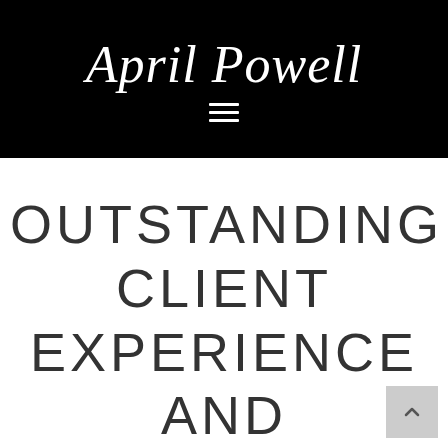April Powell
OUTSTANDING CLIENT EXPERIENCE AND